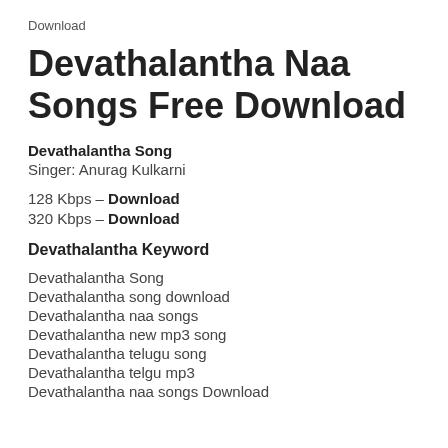Download
Devathalantha Naa Songs Free Download
Devathalantha Song
Singer: Anurag Kulkarni
128 Kbps – Download
320 Kbps – Download
Devathalantha Keyword
Devathalantha Song
Devathalantha song download
Devathalantha naa songs
Devathalantha new mp3 song
Devathalantha telugu song
Devathalantha telgu mp3
Devathalantha naa songs Download